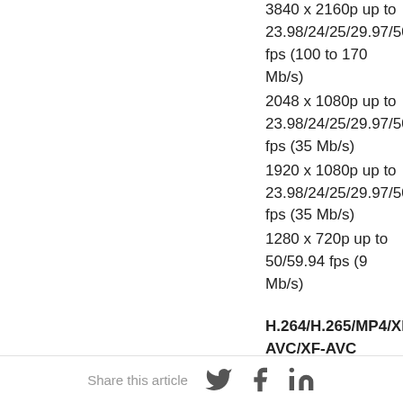3840 x 2160p up to 23.98/24/25/29.97/50/... fps (100 to 170 Mb/s) 2048 x 1080p up to 23.98/24/25/29.97/50/... fps (35 Mb/s) 1920 x 1080p up to 23.98/24/25/29.97/50/... fps (35 Mb/s) 1280 x 720p up to 50/59.94 fps (9 Mb/s)
H.264/H.265/MP4/XF-AVC/XF-AVC Proxy 4:2:2 10-Bit: 4096 x 2160p up to 119.88/120 fps
Share this article